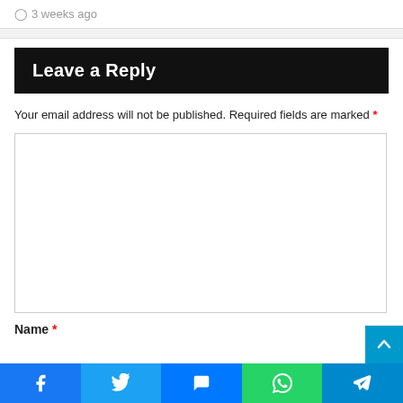3 weeks ago
Leave a Reply
Your email address will not be published. Required fields are marked *
Name *